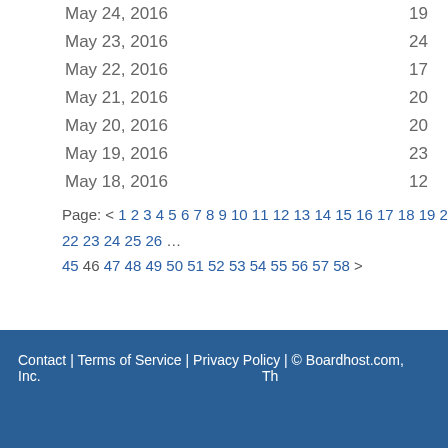May 24, 2016  19
May 23, 2016  24
May 22, 2016  17
May 21, 2016  20
May 20, 2016  20
May 19, 2016  23
May 18, 2016  12
Page: < 1 2 3 4 5 6 7 8 9 10 11 12 13 14 15 16 17 18 19 20 21 22 23 24 25 26 ... 45 46 47 48 49 50 51 52 53 54 55 56 57 58 >
Contact | Terms of Service | Privacy Policy | © Boardhost.com, Inc.  Th...